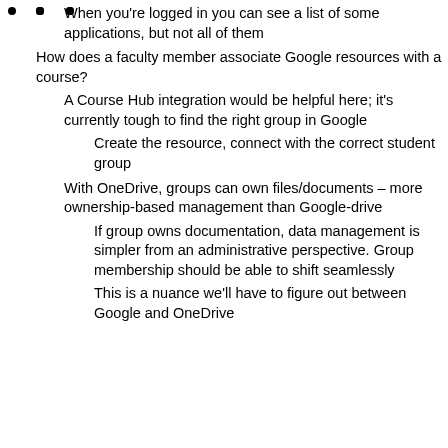When you're logged in you can see a list of some applications, but not all of them
How does a faculty member associate Google resources with a course?
A Course Hub integration would be helpful here; it's currently tough to find the right group in Google
Create the resource, connect with the correct student group
With OneDrive, groups can own files/documents – more ownership-based management than Google-drive
If group owns documentation, data management is simpler from an administrative perspective. Group membership should be able to shift seamlessly
This is a nuance we'll have to figure out between Google and OneDrive